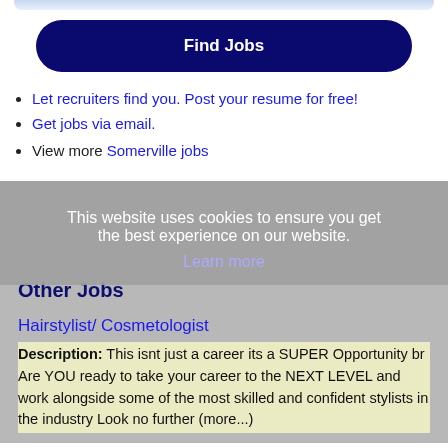[Figure (other): Top partial blue rounded bar/input at the top of the page]
Find Jobs
Let recruiters find you. Post your resume for free!
Get jobs via email.
View more Somerville jobs
This website uses cookies to ensure you get the best experience on our website.
Learn more
Other Jobs
Hairstylist/ Cosmetologist
Description: This isnt just a career its a SUPER Opportunity br Are YOU ready to take your career to the NEXT LEVEL and work alongside some of the most skilled and confident stylists in the industry Look no further (more...)